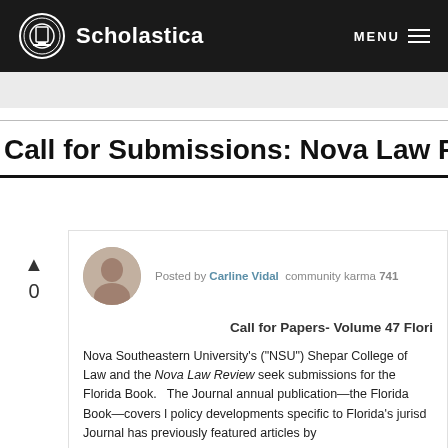Scholastica  MENU
Call for Submissions: Nova Law Review, N
Posted by Carline Vidal  community karma 741
Call for Papers- Volume 47 Flori
Nova Southeastern University's ("NSU") Shepar College of Law and the Nova Law Review seek submissions for the Florida Book.   The Journal annual publication—the Florida Book—covers l policy developments specific to Florida's jurisd Journal has previously featured articles by